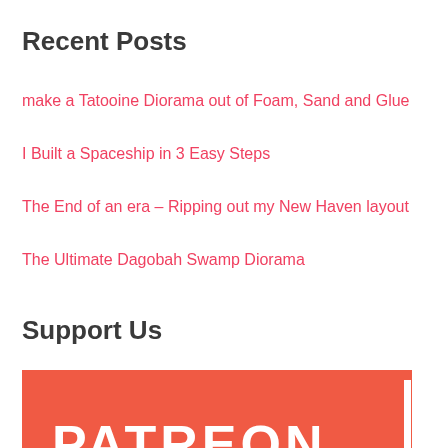Recent Posts
make a Tatooine Diorama out of Foam, Sand and Glue
I Built a Spaceship in 3 Easy Steps
The End of an era – Ripping out my New Haven layout
The Ultimate Dagobah Swamp Diorama
Support Us
[Figure (logo): Patreon logo banner on orange-red background with white text PATREON and vertical pipe on right]